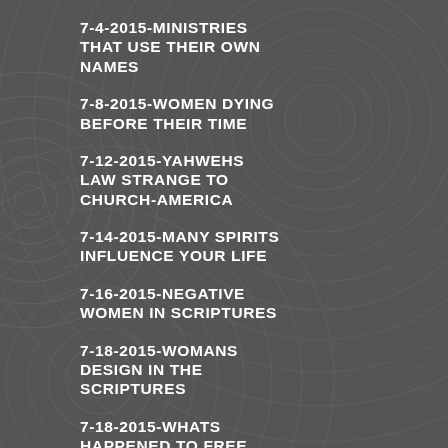7-4-2015-MINISTRIES THAT USE THEIR OWN NAMES
7-8-2015-WOMEN DYING BEFORE THEIR TIME
7-12-2015-YAHWEHS LAW STRANGE TO CHURCH-AMERICA
7-14-2015-MANY SPIRITS INFLUENCE YOUR LIFE
7-16-2015-NEGATIVE WOMEN IN SCRIPTURES
7-18-2015-WOMANS DESIGN IN THE SCRIPTURES
7-18-2015-WHATS HAPPENED TO FREE